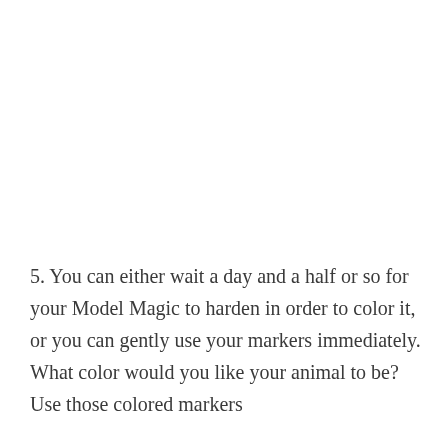5. You can either wait a day and a half or so for your Model Magic to harden in order to color it, or you can gently use your markers immediately. What color would you like your animal to be? Use those colored markers